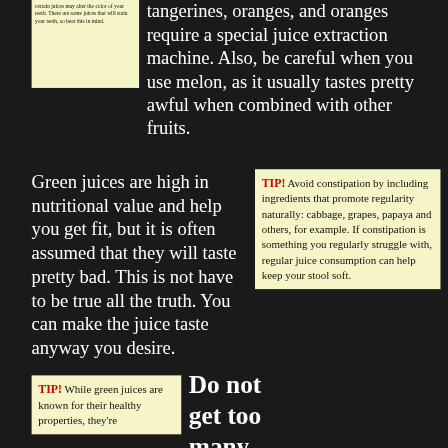certain juices may alter the color of your teeth. There are some juices that will stain your teeth, so bear this in mind.
tangerines, oranges, and oranges require a special juice extraction machine. Also, be careful when you use melon, as it usually tastes pretty awful when combined with other fruits.
Green juices are high in nutritional value and help you get fit, but it is often assumed that they will taste pretty bad. This is not have to be true all the truth. You can make the juice taste anyway you desire.
TIP! Avoid constipation by including ingredients that promote regularity naturally: cabbage, grapes, papaya and others, for example. If constipation is something you regularly struggle with, regular juice consumption can help keep your stool soft.
TIP! While green juices are known for their healthy properties, they're
Do not get too many vegetables